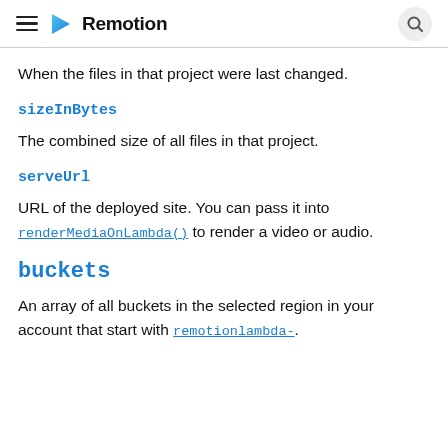Remotion
When the files in that project were last changed.
sizeInBytes
The combined size of all files in that project.
serveUrl
URL of the deployed site. You can pass it into renderMediaOnLambda() to render a video or audio.
buckets
An array of all buckets in the selected region in your account that start with remotionlambda-.